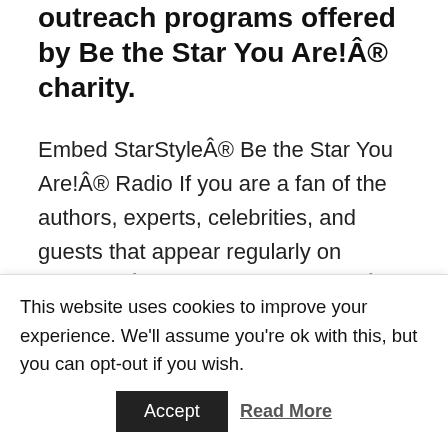outreach programs offered by Be the Star You Are!® charity.
Embed StarStyle® Be the Star You Are!® Radio If you are a fan of the authors, experts, celebrities, and guests that appear regularly on StarStyle®-Be the Star You Are!® radio, you can now be sure to never miss an episode. Embed this code into your WordPress site or any site and you'll always have Cynthia Brian, Heather Brittany, and all of your
This website uses cookies to improve your experience. We'll assume you're ok with this, but you can opt-out if you wish.